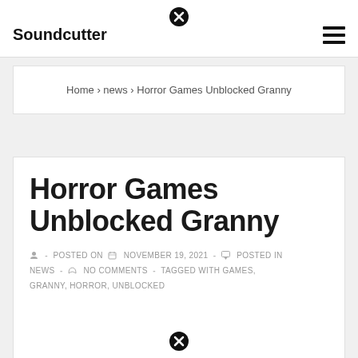Soundcutter
Home › news › Horror Games Unblocked Granny
Horror Games Unblocked Granny
- POSTED ON NOVEMBER 19, 2021 - POSTED IN NEWS - NO COMMENTS - TAGGED WITH GAMES, GRANNY, HORROR, UNBLOCKED